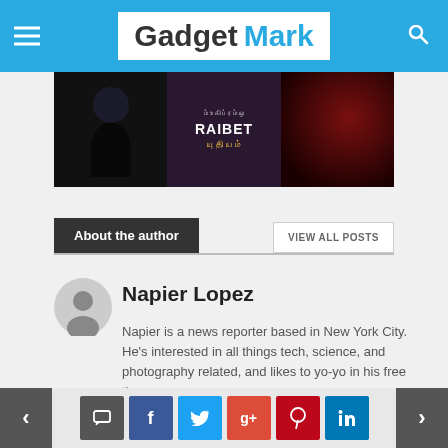Gadget Mark
[Figure (screenshot): Image strip showing three movie/game promotional panels: a dark hooded figure, a 'RAIBET' poster with Tamil script, and a dark red abstract image]
About the author
VIEW ALL POSTS
Napier Lopez
Napier is a news reporter based in New York City. He's interested in all things tech, science, and photography related, and likes to yo-yo in his free time.
Navigation bar with prev/next arrows and social share buttons: comment, facebook, twitter, google+, pinterest, linkedin